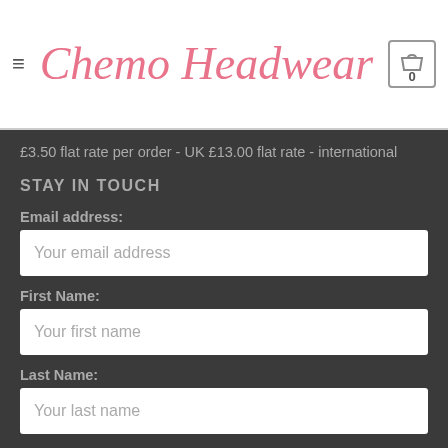Chemo Headwear
£3.50 flat rate per order - UK £13.00 flat rate - international
STAY IN TOUCH
Email address:
Your email address
First Name:
Your first name
Last Name:
Your last name